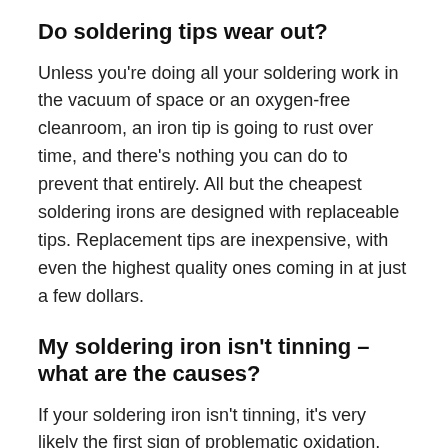Do soldering tips wear out?
Unless you're doing all your soldering work in the vacuum of space or an oxygen-free cleanroom, an iron tip is going to rust over time, and there's nothing you can do to prevent that entirely. All but the cheapest soldering irons are designed with replaceable tips. Replacement tips are inexpensive, with even the highest quality ones coming in at just a few dollars.
My soldering iron isn't tinning – what are the causes?
If your soldering iron isn't tinning, it's very likely the first sign of problematic oxidation. Try the cleaning procedures outlined above with Brass wool & Tip Tinner. You might also check...